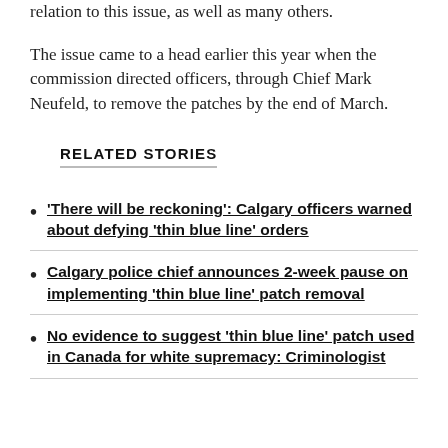relation to this issue, as well as many others.
The issue came to a head earlier this year when the commission directed officers, through Chief Mark Neufeld, to remove the patches by the end of March.
RELATED STORIES
'There will be reckoning': Calgary officers warned about defying 'thin blue line' orders
Calgary police chief announces 2-week pause on implementing 'thin blue line' patch removal
No evidence to suggest 'thin blue line' patch used in Canada for white supremacy: Criminologist